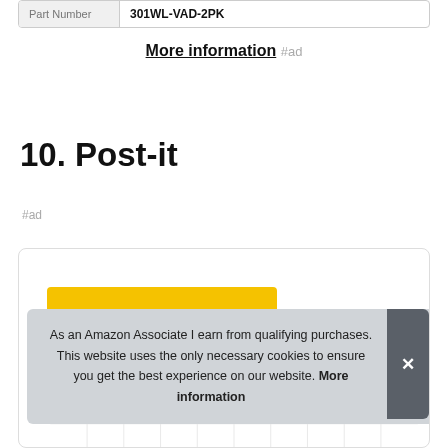| Part Number |  |
| --- | --- |
| Part Number | 301WL-VAD-2PK |
More information #ad
10. Post-it
#ad
[Figure (other): Product card with yellow bar and grid chart area]
As an Amazon Associate I earn from qualifying purchases. This website uses the only necessary cookies to ensure you get the best experience on our website. More information